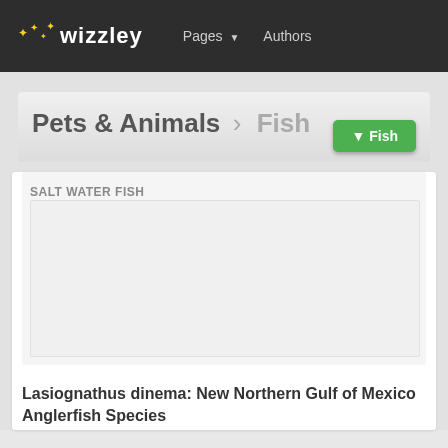wizzley  Pages ▼  Authors
Pets & Animals › Fish
SALT WATER FISH
[Figure (photo): Blank/loading image placeholder in article card]
Lasiognathus dinema: New Northern Gulf of Mexico Anglerfish Species